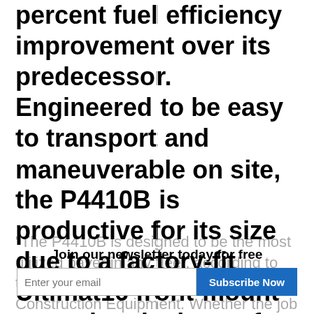percent fuel efficiency improvement over its predecessor. Engineered to be easy to transport and maneuverable on site, the P4410B is productive for its size due to a factory-fit Ultimat16 front-mount screed and a host of design elements that make it easier to operate and maintain, according to the manufacturer.
"The P4410B is designed to be the most utilized paver in any fleet, according to the product manager at Volvo Construction Equipment. Whether the job is light highway or heavy commercial, the paver's